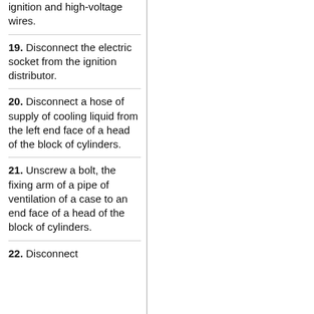ignition and high-voltage wires.
19. Disconnect the electric socket from the ignition distributor.
20. Disconnect a hose of supply of cooling liquid from the left end face of a head of the block of cylinders.
21. Unscrew a bolt, the fixing arm of a pipe of ventilation of a case to an end face of a head of the block of cylinders.
22. Disconnect the ...